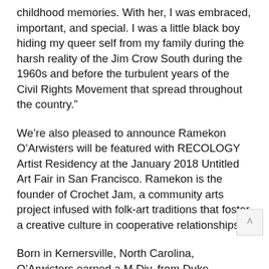childhood memories. With her, I was embraced, important, and special. I was a little black boy hiding my queer self from my family during the harsh reality of the Jim Crow South during the 1960s and before the turbulent years of the Civil Rights Movement that spread throughout the country."
We’re also pleased to announce Ramekon O’Arwisters will be featured with RECOLOGY Artist Residency at the January 2018 Untitled Art Fair in San Francisco. Ramekon is the founder of Crochet Jam, a community arts project infused with folk-art traditions that foster a creative culture in cooperative relationships.
Born in Kernersville, North Carolina, O’Arwisters earned a M.Div. from Duke University Divinity School in 1986. He was an artist-in-residence at the de Young Museum; the Djerassi Resident Artists Program, and the Vermont Studio Center. Grants and Awards include Artadia: The Fund for Art and Dialogue, NY, the San Francisco Foundation and the San Francisco Arts Commission